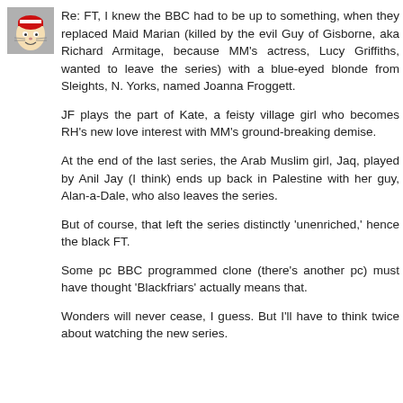[Figure (photo): Small avatar/profile image of a cartoon character (Cat in the Hat style) in the top-left corner]
Re: FT, I knew the BBC had to be up to something, when they replaced Maid Marian (killed by the evil Guy of Gisborne, aka Richard Armitage, because MM's actress, Lucy Griffiths, wanted to leave the series) with a blue-eyed blonde from Sleights, N. Yorks, named Joanna Froggett.
JF plays the part of Kate, a feisty village girl who becomes RH's new love interest with MM's ground-breaking demise.
At the end of the last series, the Arab Muslim girl, Jaq, played by Anil Jay (I think) ends up back in Palestine with her guy, Alan-a-Dale, who also leaves the series.
But of course, that left the series distinctly 'unenriched,' hence the black FT.
Some pc BBC programmed clone (there's another pc) must have thought 'Blackfriars' actually means that.
Wonders will never cease, I guess. But I'll have to think twice about watching the new series.